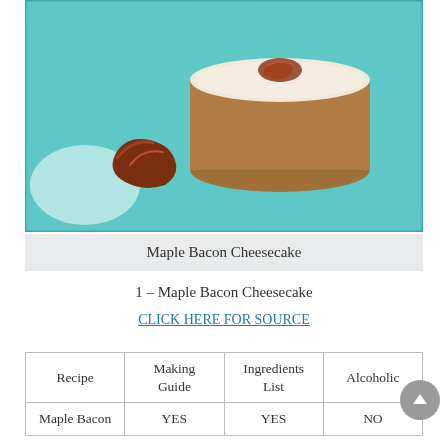[Figure (photo): A small round maple bacon cheesecake with white frosting and a piece of candied bacon on top, served on a teal/turquoise plate alongside a strip of bacon.]
Maple Bacon Cheesecake
1 – Maple Bacon Cheesecake
CLICK HERE FOR SOURCE
| Recipe | Making Guide | Ingredients List | Alcoholic |
| --- | --- | --- | --- |
| Maple Bacon | YES | YES | NO |